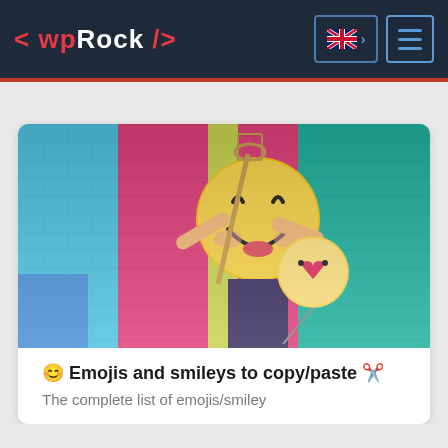< wpRock />
[Figure (photo): Person holding large emoji balloon figures (laughing face and heart-eyes face) in front of a colorful painted brick wall with pink, blue, green, yellow and teal sections]
😊 Emojis and smileys to copy/paste ✂️
The complete list of emojis/smiley